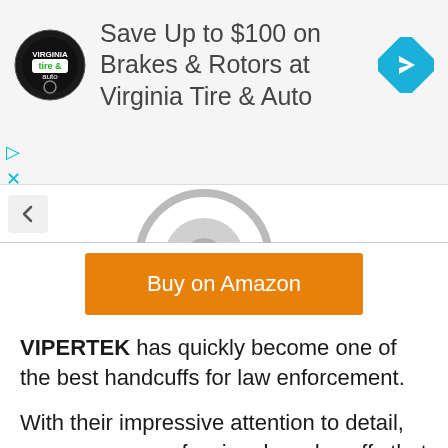[Figure (screenshot): Advertisement banner for Virginia Tire & Auto with logo, text, and directional icon]
Save Up to $100 on Brakes & Rotors at Virginia Tire & Auto
[Figure (screenshot): Partial product image visible at top of browser content area, with back navigation button]
Buy on Amazon
VIPERTEK has quickly become one of the best handcuffs for law enforcement.
With their impressive attention to detail, you can own professional-grade cuffs that are affordable.